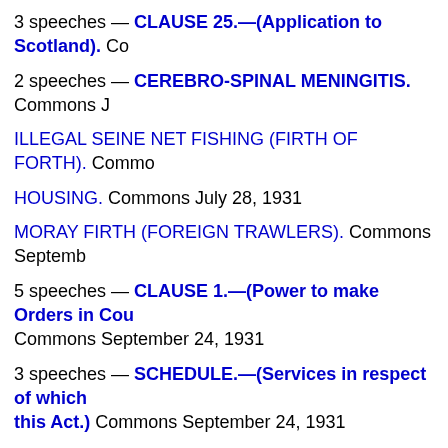3 speeches — CLAUSE 25.—(Application to Scotland). Commons ...
2 speeches — CEREBRO-SPINAL MENINGITIS. Commons J...
ILLEGAL SEINE NET FISHING (FIRTH OF FORTH). Commons...
HOUSING. Commons July 28, 1931
MORAY FIRTH (FOREIGN TRAWLERS). Commons Septemb...
5 speeches — CLAUSE 1.—(Power to make Orders in Cou... Commons September 24, 1931
3 speeches — SCHEDULE.—(Services in respect of which... this Act.) Commons September 24, 1931
Information presented on this page was prepared from the XM... the History of Parliament Trust, the work of Leigh Rayment and... names are recognised means that errors may remain in the da...
Noticed a typo? | Report other issues | © UK Parliament